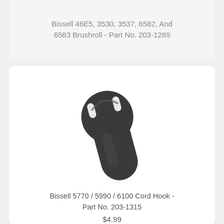Bissell 46E5, 3530, 3537, 6582, And 6583 Brushroll - Part No. 203-1289
[Figure (photo): Dark gray plastic cord hook part, shaped like a rounded paddle or hook with two slots near the top. Bissell part for models 5770, 5990, 6100.]
Bissell 5770 / 5990 / 6100 Cord Hook - Part No. 203-1315
$4.99